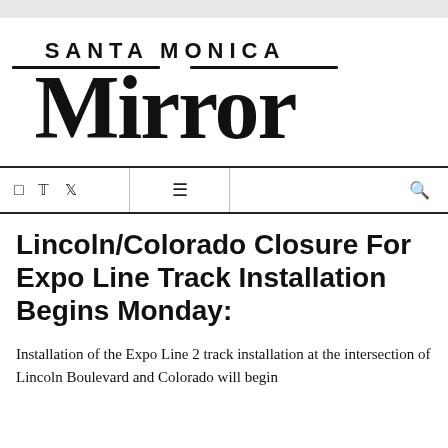[Figure (logo): Santa Monica Mirror newspaper logo in blackletter/gothic font style]
Navigation bar with social icons (Facebook, Twitter), menu icon, and search icon
Lincoln/Colorado Closure For Expo Line Track Installation Begins Monday:
Installation of the Expo Line 2 track installation at the intersection of Lincoln Boulevard and Colorado will begin